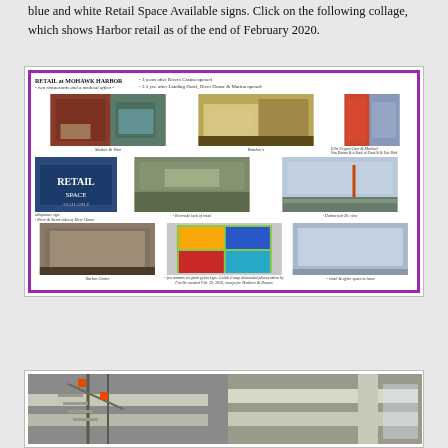blue and white Retail Space Available signs. Click on the following collage, which shows Harbor retail as of the end of February 2020.
[Figure (photo): Collage titled 'RETAIL at MOHAWK HARBOR - two restaurants and a medical office -' with 9 photos showing various retail spaces at Mohawk Harbor. Top row: Shaker & Vine, Brother's, Ellis Urgent Care & Medical (with note: 'Ava., Donuts & a back of Plank St & Erie Blvd'). Middle row: 'ubiquitous sign - River & Street sides of River House', Riverside lack of retail, Harborside Dr. view. Bottom row: Harbor Center, 'few tenants on giant pylon sign; Golub Group demanded photos taken by Faville vacated Feb. 29, 2020, except for Brothers & Donuts', 'retail & office space to lease']
[Figure (photo): Construction photo showing concrete structure with metal scaffolding/stairs and orange accent elements]